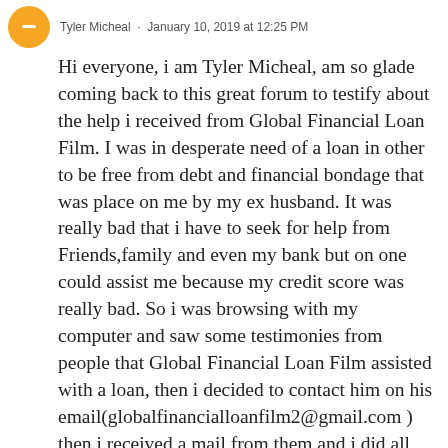Tyler Micheal · January 10, 2019 at 12:25 PM
Hi everyone, i am Tyler Micheal, am so glade coming back to this great forum to testify about the help i received from Global Financial Loan Film. I was in desperate need of a loan in other to be free from debt and financial bondage that was place on me by my ex husband. It was really bad that i have to seek for help from Friends,family and even my bank but on one could assist me because my credit score was really bad. So i was browsing with my computer and saw some testimonies from people that Global Financial Loan Film assisted with a loan, then i decided to contact him on his email(globalfinancialloanfilm2@gmail.com ) then i received a mail from them and i did all that was asked from me. To my greatest surprise they transferred to my account the loan i requested and now i am so happy